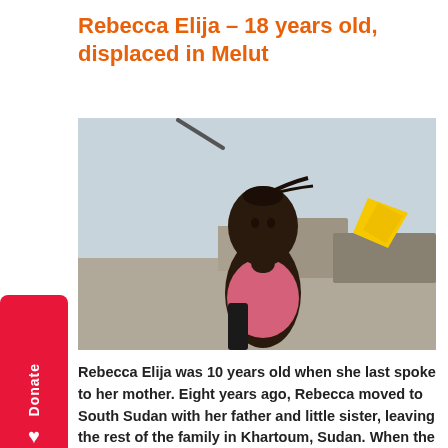Rebecca Elija – 18 years old, displaced in Melut
[Figure (photo): Photo of Rebecca Elija, a young woman (18 years old) sitting outdoors in a displaced persons camp in Melut, South Sudan. She is wearing a pink top, hair pulled back. Background shows makeshift shelters and a yellow flag or cloth.]
Rebecca Elija was 10 years old when she last spoke to her mother. Eight years ago, Rebecca moved to South Sudan with her father and little sister, leaving the rest of the family in Khartoum, Sudan. When the conflict broke out in December 2013, the three of them fled to Melut. Although she has been